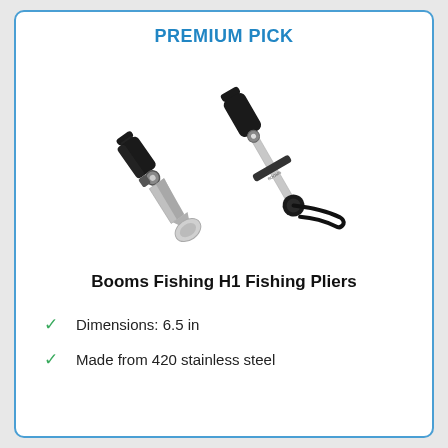PREMIUM PICK
[Figure (photo): Two Booms Fishing H1 Fishing Pliers with black handles and silver stainless steel bodies, shown at an angle side by side.]
Booms Fishing H1 Fishing Pliers
Dimensions: 6.5 in
Made from 420 stainless steel